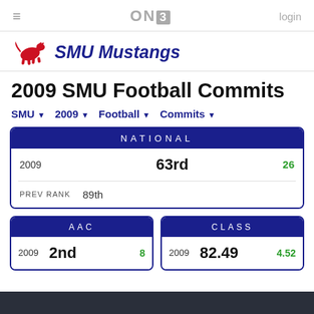≡  ON3  login
[Figure (logo): SMU Mustangs red horse logo]
SMU Mustangs
2009 SMU Football Commits
SMU ▾  2009 ▾  Football ▾  Commits ▾
| NATIONAL |  |  |
| --- | --- | --- |
| 2009 | 63rd | 26 |
| PREV RANK | 89th |  |
| AAC |  |  |
| --- | --- | --- |
| 2009 | 2nd | 8 |
| CLASS |  |  |
| --- | --- | --- |
| 2009 | 82.49 | 4.52 |